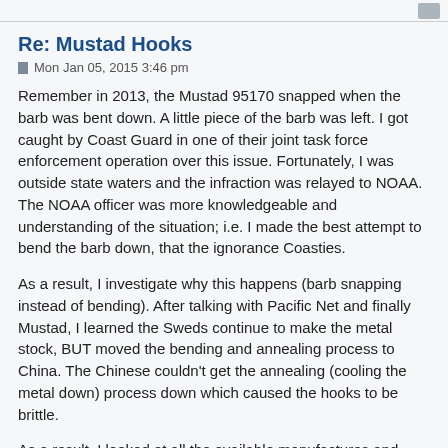Re: Mustad Hooks
Mon Jan 05, 2015 3:46 pm
Remember in 2013, the Mustad 95170 snapped when the barb was bent down. A little piece of the barb was left. I got caught by Coast Guard in one of their joint task force enforcement operation over this issue. Fortunately, I was outside state waters and the infraction was relayed to NOAA. The NOAA officer was more knowledgeable and understanding of the situation; i.e. I made the best attempt to bend the barb down, that the ignorance Coasties.
As a result, I investigate why this happens (barb snapping instead of bending). After talking with Pacific Net and finally Mustad, I learned the Sweds continue to make the metal stock, BUT moved the bending and annealing process to China. The Chinese couldn't get the annealing (cooling the metal down) process down which caused the hooks to be brittle.
As a result, I looked at all the available manufactures and found Qi hooks (pronounced Chi). Great hooks! I was able to go from Mustad 5/0s to Qi 7/0 without effecting the spoon or hoochie performance. The best feature of the Qi straight hook, verses the claw point, is the distance from the hook's point to the throat is about .25" longer. I believe I loose fewer fish because there is more hook keeping them on.